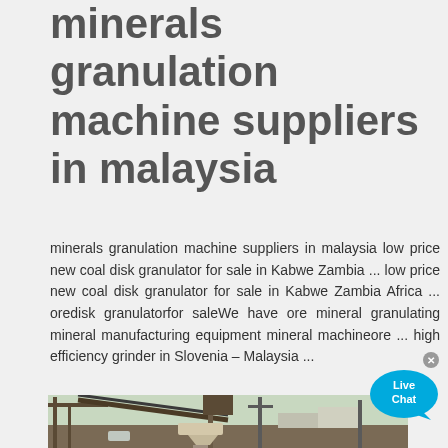minerals granulation machine suppliers in malaysia
minerals granulation machine suppliers in malaysia low price new coal disk granulator for sale in Kabwe Zambia ... low price new coal disk granulator for sale in Kabwe Zambia Africa ... oredisk granulatorfor saleWe have ore mineral granulating mineral manufacturing equipment mineral machineore ... high efficiency grinder in Slovenia – Malaysia ...
[Figure (photo): Industrial minerals granulation or mining equipment installation outdoors, showing conveyor belts, metal framework, cone crusher or granulator unit, with utility poles and buildings in background.]